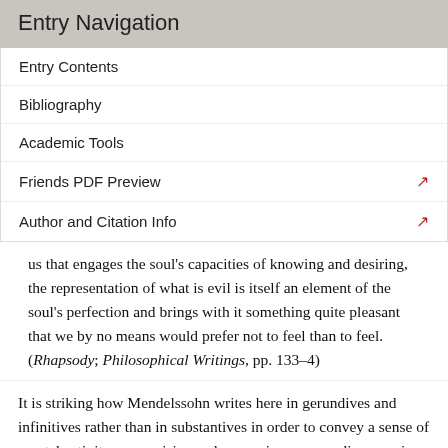Entry Navigation
Entry Contents
Bibliography
Academic Tools
Friends PDF Preview
Author and Citation Info
us that engages the soul's capacities of knowing and desiring, the representation of what is evil is itself an element of the soul's perfection and brings with it something quite pleasant that we by no means would prefer not to feel than to feel. (Rhapsody; Philosophical Writings, pp. 133–4)
It is striking how Mendelssohn writes here in gerundives and infinitives rather than in substantives in order to convey a sense of mental activity: recognizing and approving or even disapproving are actions of the mind in